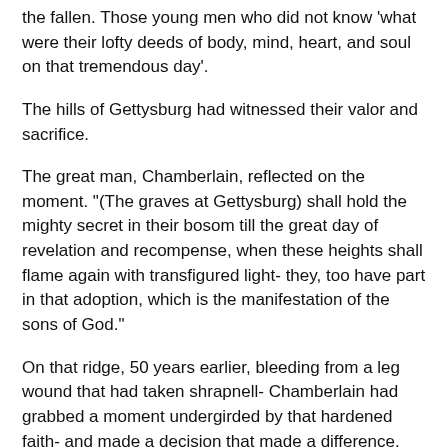the fallen. Those young men who did not know 'what were their lofty deeds of body, mind, heart, and soul on that tremendous day'.
The hills of Gettysburg had witnessed their valor and sacrifice.
The great man, Chamberlain, reflected on the moment. "(The graves at Gettysburg) shall hold the mighty secret in their bosom till the great day of revelation and recompense, when these heights shall flame again with transfigured light- they, too have part in that adoption, which is the manifestation of the sons of God."
On that ridge, 50 years earlier, bleeding from a leg wound that had taken shrapnell- Chamberlain had grabbed a moment undergirded by that hardened faith- and made a decision that made a difference.
The average man would have lain there and rested or given up the ghost- but not this mighty warrior of God. To give up or give in would mean a loss in vain.